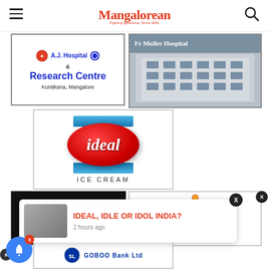Mangalorean
[Figure (logo): A.J. Hospital & Research Centre, Kuntikana, Mangalore advertisement]
[Figure (photo): Fr Muller Hospital building photo advertisement]
[Figure (logo): Ideal Ice Cream logo advertisement]
[Figure (logo): AL MA... advertisement on dark background]
[Figure (logo): Colorful cone/umbrella logo advertisement]
[Figure (screenshot): Notification popup: IDEAL, IDLE OR IDOL INDIA? - 2 hours ago]
[Figure (logo): Partial bottom advertisement - GOBBO Bank Ltd]